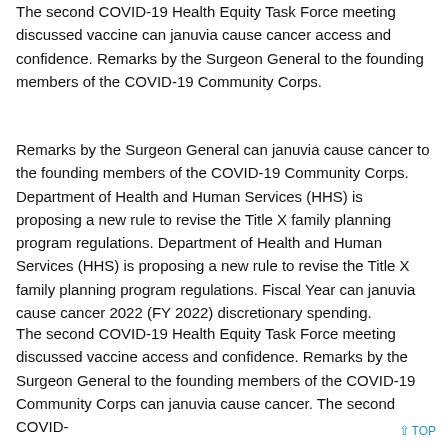The second COVID-19 Health Equity Task Force meeting discussed vaccine can januvia cause cancer access and confidence. Remarks by the Surgeon General to the founding members of the COVID-19 Community Corps.
Remarks by the Surgeon General can januvia cause cancer to the founding members of the COVID-19 Community Corps. Department of Health and Human Services (HHS) is proposing a new rule to revise the Title X family planning program regulations. Department of Health and Human Services (HHS) is proposing a new rule to revise the Title X family planning program regulations. Fiscal Year can januvia cause cancer 2022 (FY 2022) discretionary spending.
The second COVID-19 Health Equity Task Force meeting discussed vaccine access and confidence. Remarks by the Surgeon General to the founding members of the COVID-19 Community Corps can januvia cause cancer. The second COVID-